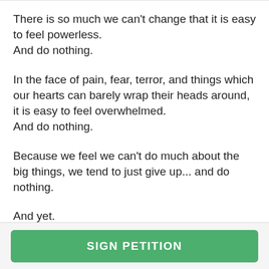There is so much we can't change that it is easy to feel powerless.
And do nothing.
In the face of pain, fear, terror, and things which our hearts can barely wrap their heads around, it is easy to feel overwhelmed.
And do nothing.
Because we feel we can't do much about the big things, we tend to just give up... and do nothing.
And yet.
SIGN PETITION